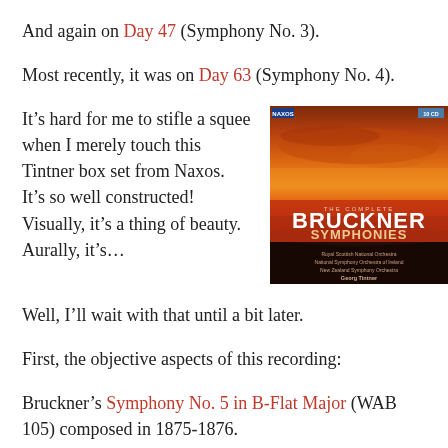And again on Day 47 (Symphony No. 3).
Most recently, it was on Day 63 (Symphony No. 4).
It’s hard for me to stifle a squee when I merely touch this Tintner box set from Naxos. It’s so well constructed! Visually, it’s a thing of beauty. Aurally, it’s…
[Figure (photo): Album cover for The Complete Bruckner Symphonies box set on Naxos, conducted by Georg Tintner. Features a dramatic orange and red landscape background with bold white text.]
Well, I’ll wait with that until a bit later.
First, the objective aspects of this recording:
Bruckner’s Symphony No. 5 in B-Flat Major (WAB 105) composed in 1875-1876.